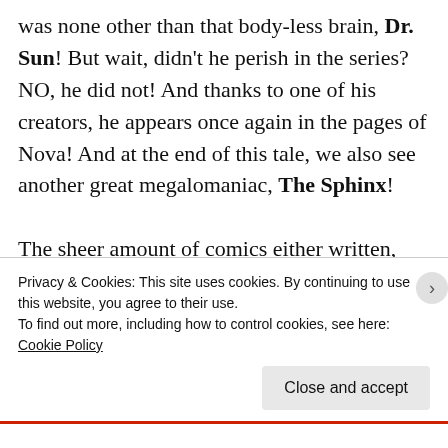was none other than that body-less brain, Dr. Sun! But wait, didn't he perish in the series? NO, he did not! And thanks to one of his creators, he appears once again in the pages of Nova! And at the end of this tale, we also see another great megalomaniac, The Sphinx!
The sheer amount of comics either written, plotted, and/or edited by Marv Wolfman (writer/editor) is astounding! For me his crowning achievement will always be Tomb
Privacy & Cookies: This site uses cookies. By continuing to use this website, you agree to their use.
To find out more, including how to control cookies, see here: Cookie Policy